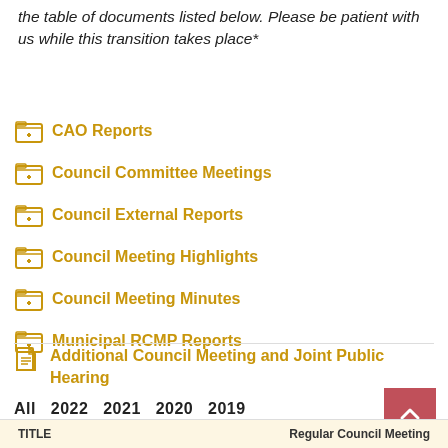the table of documents listed below. Please be patient with us while this transition takes place*
CAO Reports
Council Committee Meetings
Council External Reports
Council Meeting Highlights
Council Meeting Minutes
Municipal RCMP Reports
Additional Council Meeting and Joint Public Hearing
All  2022  2021  2020  2019
| TITLE | Regular Council Meeting |
| --- | --- |